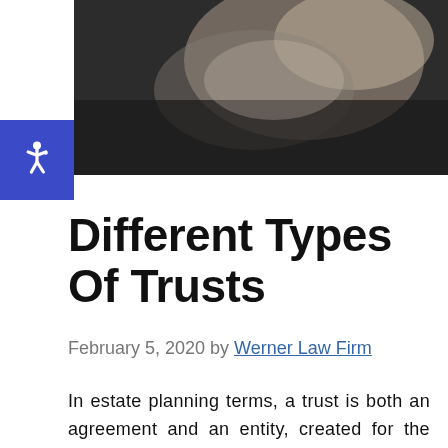[Figure (photo): Close-up photo of a person's hand signing or writing on a document, dark background]
Different Types Of Trusts
February 5, 2020 by Werner Law Firm
In estate planning terms, a trust is both an agreement and an entity, created for the purpose of holding assets and accounts 'in trust' until they are ready to be distributed to designated